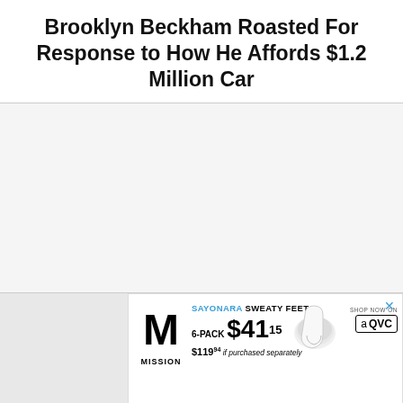Brooklyn Beckham Roasted For Response to How He Affords $1.2 Million Car
[Figure (other): Large blank white/light gray content area below the title, representing main article image area]
[Figure (other): Advertisement banner: Mission brand sock ad. SAYONARA SWEATY FEET. 6-PACK $41.15. $119.94 if purchased separately. Shop now on QVC. Features white ankle socks image and yellow circle graphic.]